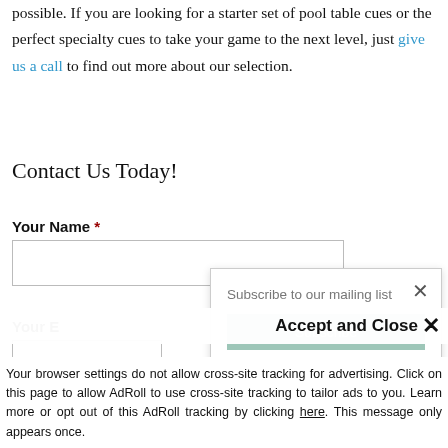possible. If you are looking for a starter set of pool table cues or the perfect specialty cues to take your game to the next level, just give us a call to find out more about our selection.
Contact Us Today!
Your Name *
Your E[mail] (partially visible)
[Figure (screenshot): Subscribe to our mailing list popup with close X button and Subscribe button]
Accept and Close ×
Your browser settings do not allow cross-site tracking for advertising. Click on this page to allow AdRoll to use cross-site tracking to tailor ads to you. Learn more or opt out of this AdRoll tracking by clicking here. This message only appears once.